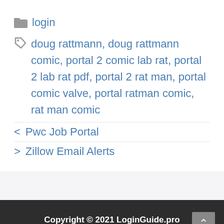login
doug rattmann, doug rattmann comic, portal 2 comic lab rat, portal 2 lab rat pdf, portal 2 rat man, portal comic valve, portal ratman comic, rat man comic
< Pwc Job Portal
> Zillow Email Alerts
Copyright © 2021 LoginGuide.pro